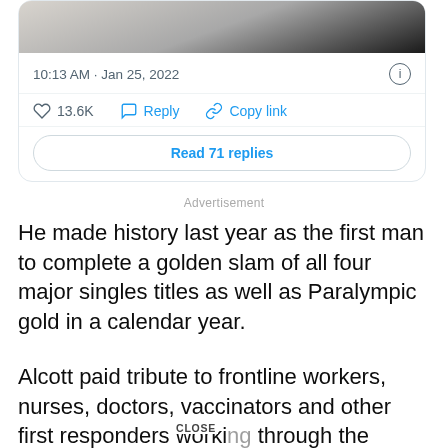[Figure (screenshot): Tweet card screenshot showing image at top, timestamp '10:13 AM · Jan 25, 2022', like count 13.6K, Reply and Copy link actions, and 'Read 71 replies' button]
Advertisement
He made history last year as the first man to complete a golden slam of all four major singles titles as well as Paralympic gold in a calendar year.
Alcott paid tribute to frontline workers, nurses, doctors, vaccinators and other first responders working through the pandemic.